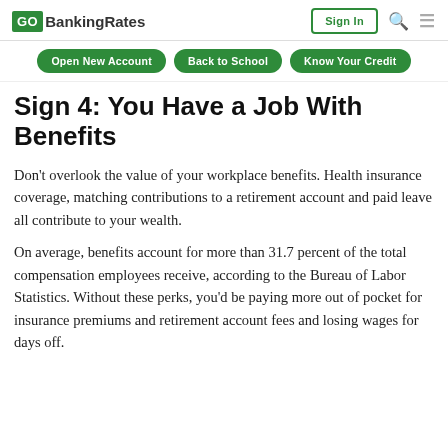GO BankingRates | Sign In
Open New Account | Back to School | Know Your Credit
Sign 4: You Have a Job With Benefits
Don't overlook the value of your workplace benefits. Health insurance coverage, matching contributions to a retirement account and paid leave all contribute to your wealth.
On average, benefits account for more than 31.7 percent of the total compensation employees receive, according to the Bureau of Labor Statistics. Without these perks, you'd be paying more out of pocket for insurance premiums and retirement account fees and losing wages for days off.